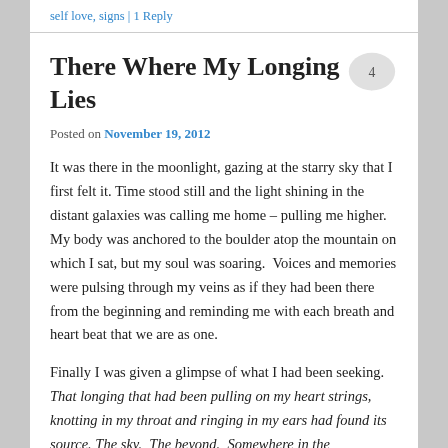self love, signs | 1 Reply
There Where My Longing Lies
Posted on November 19, 2012
It was there in the moonlight, gazing at the starry sky that I first felt it. Time stood still and the light shining in the distant galaxies was calling me home – pulling me higher. My body was anchored to the boulder atop the mountain on which I sat, but my soul was soaring.  Voices and memories were pulsing through my veins as if they had been there from the beginning and reminding me with each breath and heart beat that we are as one.
Finally I was given a glimpse of what I had been seeking. That longing that had been pulling on my heart strings, knotting in my throat and ringing in my ears had found its source. The sky.  The beyond.  Somewhere in the